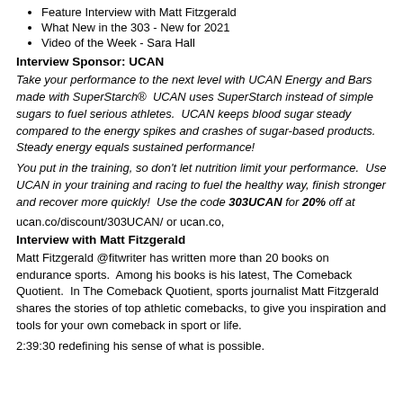Feature Interview with Matt Fitzgerald
What New in the 303 - New for 2021
Video of the Week - Sara Hall
Interview Sponsor: UCAN
Take your performance to the next level with UCAN Energy and Bars made with SuperStarch®  UCAN uses SuperStarch instead of simple sugars to fuel serious athletes.  UCAN keeps blood sugar steady compared to the energy spikes and crashes of sugar-based products.  Steady energy equals sustained performance!
You put in the training, so don't let nutrition limit your performance.  Use UCAN in your training and racing to fuel the healthy way, finish stronger and recover more quickly!  Use the code 303UCAN for 20% off at
ucan.co/discount/303UCAN/ or ucan.co,
Interview with Matt Fitzgerald
Matt Fitzgerald @fitwriter has written more than 20 books on endurance sports.  Among his books is his latest, The Comeback Quotient.  In The Comeback Quotient, sports journalist Matt Fitzgerald shares the stories of top athletic comebacks, to give you inspiration and tools for your own comeback in sport or life.
2:39:30 redefining his sense of what is possible.